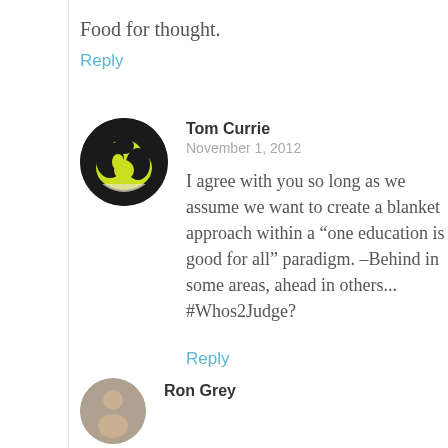Food for thought.
Reply
Tom Currie
November 1, 2012
I agree with you so long as we assume we want to create a blanket approach within a “one education is good for all” paradigm. –Behind in some areas, ahead in others... #Whos2Judge?
Reply
Ron Grey